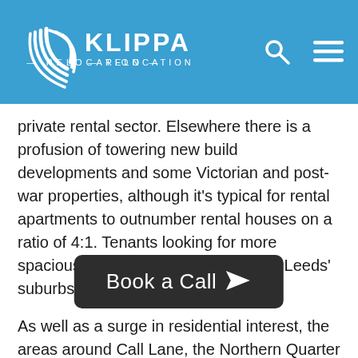KLIPPA RELOCATION
private rental sector. Elsewhere there is a profusion of towering new build developments and some Victorian and post-war properties, although it's typical for rental apartments to outnumber rental houses on a ratio of 4:1. Tenants looking for more spacious homes are served better by Leeds' suburbs.
As well as a surge in residential interest, the areas around Call Lane, the Northern Quarter of Merrion Street and Greek Street have attracted hip bars and restaurants, catering for young professionals, and the student population. Couple this with a range of cultural facilities, a plentiful supply of